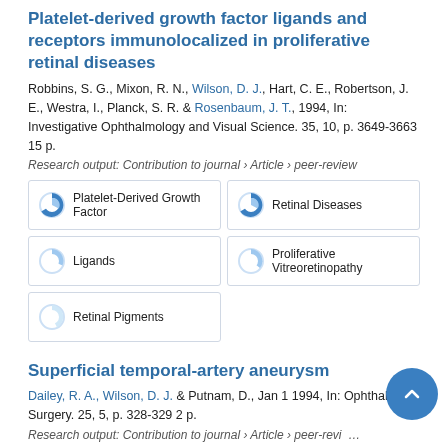Platelet-derived growth factor ligands and receptors immunolocalized in proliferative retinal diseases
Robbins, S. G., Mixon, R. N., Wilson, D. J., Hart, C. E., Robertson, J. E., Westra, I., Planck, S. R. & Rosenbaum, J. T., 1994, In: Investigative Ophthalmology and Visual Science. 35, 10, p. 3649-3663 15 p.
Research output: Contribution to journal › Article › peer-review
Platelet-Derived Growth Factor
Retinal Diseases
Ligands
Proliferative Vitreoretinopathy
Retinal Pigments
Superficial temporal-artery aneurysm
Dailey, R. A., Wilson, D. J. & Putnam, D., Jan 1 1994, In: Ophthalmic Surgery. 25, 5, p. 328-329 2 p.
Research output: Contribution to journal › Article › peer-review
Temporal Arteries
Aneurysm
Ophthalmologists
Differential Diagnosis